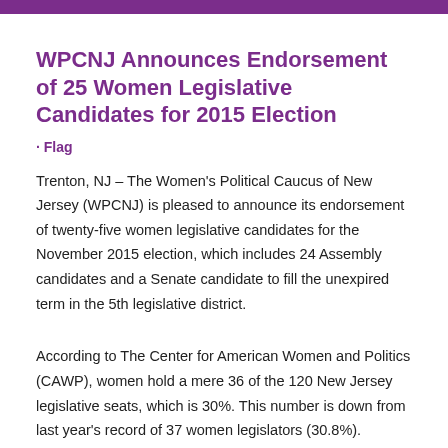WPCNJ Announces Endorsement of 25 Women Legislative Candidates for 2015 Election
· Flag
Trenton, NJ – The Women's Political Caucus of New Jersey (WPCNJ) is pleased to announce its endorsement of twenty-five women legislative candidates for the November 2015 election, which includes 24 Assembly candidates and a Senate candidate to fill the unexpired term in the 5th legislative district.
According to The Center for American Women and Politics (CAWP), women hold a mere 36 of the 120 New Jersey legislative seats, which is 30%. This number is down from last year's record of 37 women legislators (30.8%).